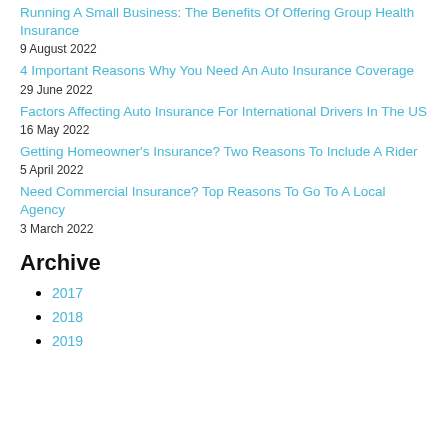Running A Small Business: The Benefits Of Offering Group Health Insurance
9 August 2022
4 Important Reasons Why You Need An Auto Insurance Coverage
29 June 2022
Factors Affecting Auto Insurance For International Drivers In The US
16 May 2022
Getting Homeowner's Insurance? Two Reasons To Include A Rider
5 April 2022
Need Commercial Insurance? Top Reasons To Go To A Local Agency
3 March 2022
Archive
2017
2018
2019